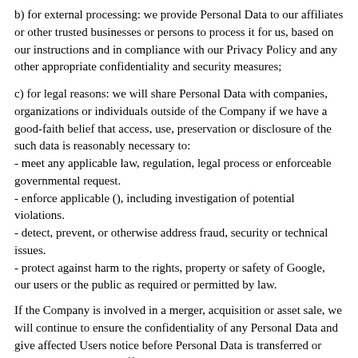b) for external processing: we provide Personal Data to our affiliates or other trusted businesses or persons to process it for us, based on our instructions and in compliance with our Privacy Policy and any other appropriate confidentiality and security measures;
c) for legal reasons: we will share Personal Data with companies, organizations or individuals outside of the Company if we have a good-faith belief that access, use, preservation or disclosure of the such data is reasonably necessary to:
- meet any applicable law, regulation, legal process or enforceable governmental request.
- enforce applicable (), including investigation of potential violations.
- detect, prevent, or otherwise address fraud, security or technical issues.
- protect against harm to the rights, property or safety of Google, our users or the public as required or permitted by law.
If the Company is involved in a merger, acquisition or asset sale, we will continue to ensure the confidentiality of any Personal Data and give affected Users notice before Personal Data is transferred or becomes subject to a different privacy policy.
5. Third parties services
1) We do not sell, provide or lease, or share any Personal Data of